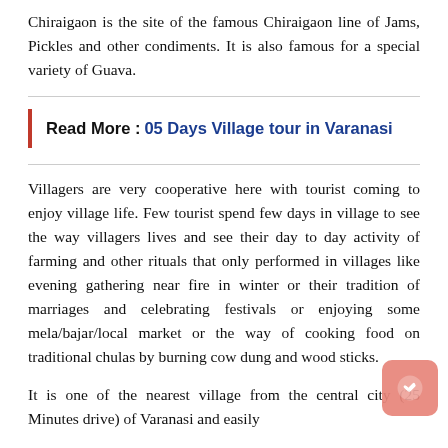Chiraigaon is the site of the famous Chiraigaon line of Jams, Pickles and other condiments. It is also famous for a special variety of Guava.
Read More : 05 Days Village tour in Varanasi
Villagers are very cooperative here with tourist coming to enjoy village life. Few tourist spend few days in village to see the way villagers lives and see their day to day activity of farming and other rituals that only performed in villages like evening gathering near fire in winter or their tradition of marriages and celebrating festivals or enjoying some mela/bajar/local market or the way of cooking food on traditional chulas by burning cow dung and wood sticks.
It is one of the nearest village from the central city (25 Minutes drive) of Varanasi and easily